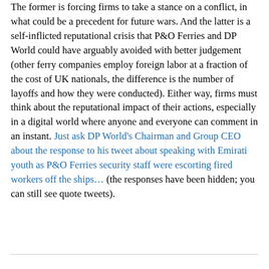The former is forcing firms to take a stance on a conflict, in what could be a precedent for future wars. And the latter is a self-inflicted reputational crisis that P&O Ferries and DP World could have arguably avoided with better judgement (other ferry companies employ foreign labor at a fraction of the cost of UK nationals, the difference is the number of layoffs and how they were conducted). Either way, firms must think about the reputational impact of their actions, especially in a digital world where anyone and everyone can comment in an instant. Just ask DP World's Chairman and Group CEO about the response to his tweet about speaking with Emirati youth as P&O Ferries security staff were escorting fired workers off the ships… (the responses have been hidden; you can still see quote tweets).